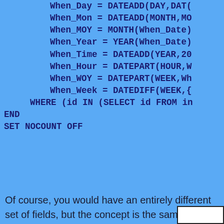When_Day = DATEADD(DAY,DAT(
    When_Mon = DATEADD(MONTH,MO
    When_MOY = MONTH(When_Date)
    When_Year = YEAR(When_Date)
    When_Time = DATEADD(YEAR,20
    When_Hour = DATEPART(HOUR,W
    When_WOY = DATEPART(WEEK,Wh
    When_Week = DATEDIFF(WEEK,{
  WHERE (id IN (SELECT id FROM in
END
SET NOCOUNT OFF
Of course, you would have an entirely different set of fields, but the concept is the same. In